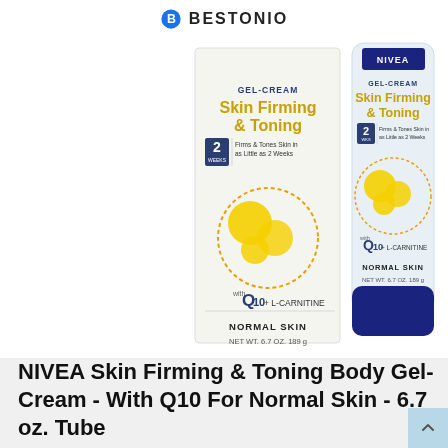BESTONIO
[Figure (photo): NIVEA Skin Firming & Toning Gel-Cream product photo showing a carton box and a squeeze tube, both white/light blue with blue NIVEA logo, gold 'Skin Firming & Toning' text, Q10 + L-Carnitine formula, Normal Skin, NET WT. 6.7 OZ. 189g]
NIVEA Skin Firming & Toning Body Gel-Cream - With Q10 For Normal Skin - 6.7 oz. Tube